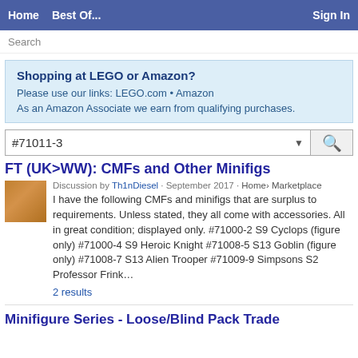Home  Best Of...  Sign In
Search
Shopping at LEGO or Amazon?
Please use our links: LEGO.com • Amazon
As an Amazon Associate we earn from qualifying purchases.
#71011-3
FT (UK>WW): CMFs and Other Minifigs
Discussion by Th1nDiesel · September 2017 · Home› Marketplace
I have the following CMFs and minifigs that are surplus to requirements. Unless stated, they all come with accessories. All in great condition; displayed only. #71000-2 S9 Cyclops (figure only) #71000-4 S9 Heroic Knight #71008-5 S13 Goblin (figure only) #71008-7 S13 Alien Trooper #71009-9 Simpsons S2 Professor Frink…
2 results
Minifigure Series - Loose/Blind Pack Trade